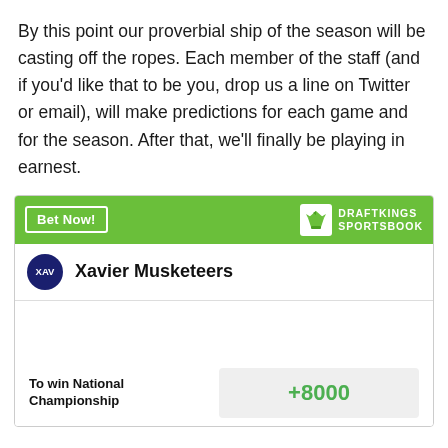By this point our proverbial ship of the season will be casting off the ropes. Each member of the staff (and if you'd like that to be you, drop us a line on Twitter or email), will make predictions for each game and for the season. After that, we'll finally be playing in earnest.
[Figure (other): DraftKings Sportsbook betting widget showing Xavier Musketeers with odds +8000 to win National Championship]